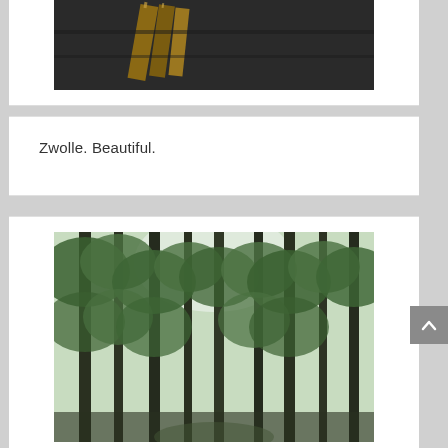[Figure (photo): Close-up photo of wooden boards or planks on a dark surface, possibly a bench or dock]
Zwolle. Beautiful.
[Figure (photo): Photo of tall green trees in a forest or park, viewed from below looking up through the canopy with light filtering through]